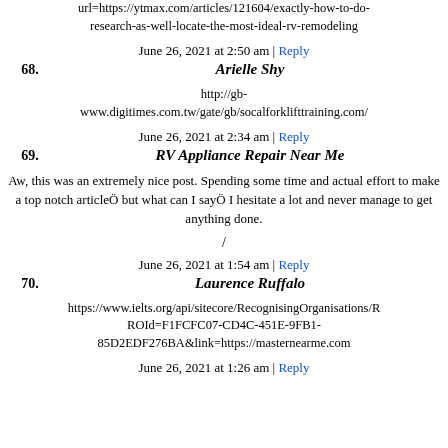url=https://ytmax.com/articles/121604/exactly-how-to-do-research-as-well-locate-the-most-ideal-rv-remodeling
June 26, 2021 at 2:50 am | Reply
68. Arielle Shy
http://gb-www.digitimes.com.tw/gate/gb/socalforklifttraining.com/
June 26, 2021 at 2:34 am | Reply
69. RV Appliance Repair Near Me
Aw, this was an extremely nice post. Spending some time and actual effort to make a top notch articleÖ but what can I sayÖ I hesitate a lot and never manage to get anything done.
/
June 26, 2021 at 1:54 am | Reply
70. Laurence Ruffalo
https://www.ielts.org/api/sitecore/RecognisingOrganisations/ROId=F1FCFC07-CD4C-451E-9FB1-85D2EDF276BA&link=https://masternearme.com
June 26, 2021 at 1:26 am | Reply